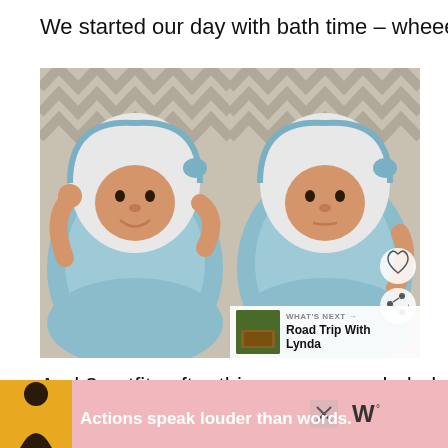We started our day with bath time – wheee!
[Figure (photo): Two side-by-side photos of a newborn baby wrapped in a light blue hooded towel, lying on a chevron-patterned surface. Left photo shows the baby smiling with arms raised; right photo shows the baby looking up calmly. Social media heart and share buttons visible on the right photo.]
And 2 outfits after this one was exploded upon
[Figure (infographic): Advertisement banner with pink background, a figure of a person in yellow, bold white text 'Actions speak louder than words.' and a logo on the right. An X close button is visible.]